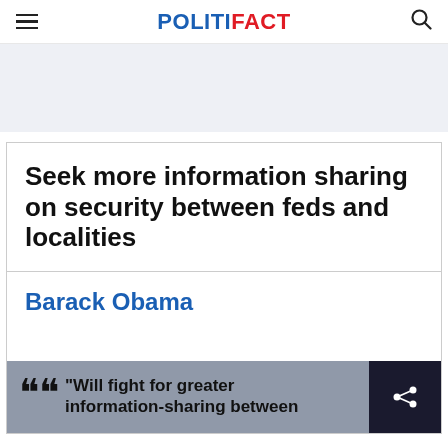POLITIFACT
Seek more information sharing on security between feds and localities
Barack Obama
"Will fight for greater information-sharing between